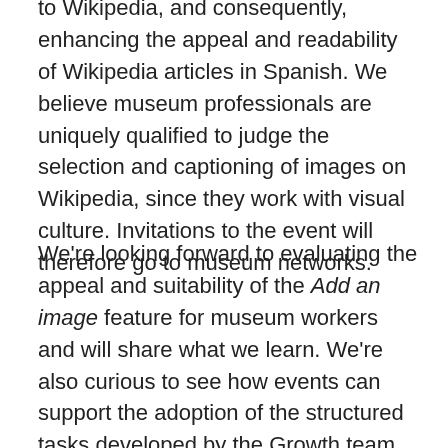to Wikipedia, and consequently, enhancing the appeal and readability of Wikipedia articles in Spanish. We believe museum professionals are uniquely qualified to judge the selection and captioning of images on Wikipedia, since they work with visual culture. Invitations to the event will therefore go to museum networks.
We're looking forward to evaluating the appeal and suitability of the Add an image feature for museum workers and will share what we learn. We're also curious to see how events can support the adoption of the structured tasks developed by the Growth team and wonder if Add an image events have the potential to grow into an annual campaign, like #1Lib1Ref.